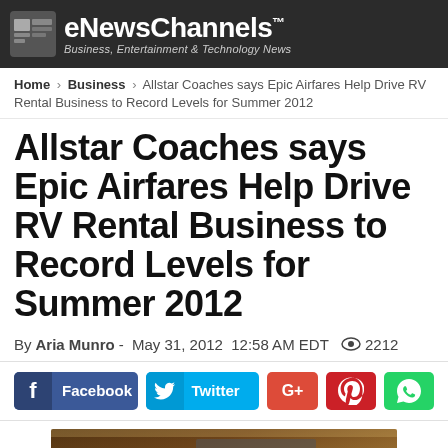eNewsChannels™ Business, Entertainment & Technology News
Home › Business › Allstar Coaches says Epic Airfares Help Drive RV Rental Business to Record Levels for Summer 2012
Allstar Coaches says Epic Airfares Help Drive RV Rental Business to Record Levels for Summer 2012
By Aria Munro - May 31, 2012  12:58 AM EDT  👁 2212
[Figure (other): Social media share buttons: Facebook, Twitter, Google+, Pinterest, WhatsApp]
[Figure (photo): Interior of an RV showing dark wood cabinetry, kitchen area]